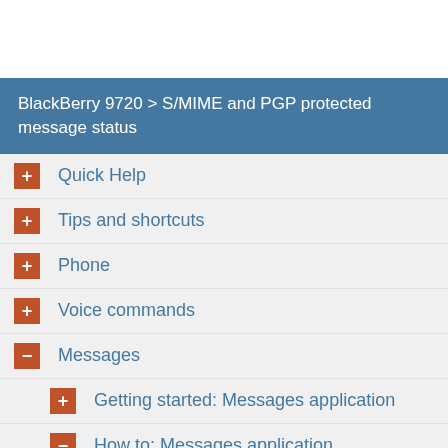BlackBerry 9720 > S/MIME and PGP protected message status
+ Quick Help
+ Tips and shortcuts
+ Phone
+ Voice commands
- Messages
+ Getting started: Messages application
- How to: Messages application
Messages at a glance
Search for messages
Hide filed and sent messages from the Messages application
Show or hide messages from the Messages application